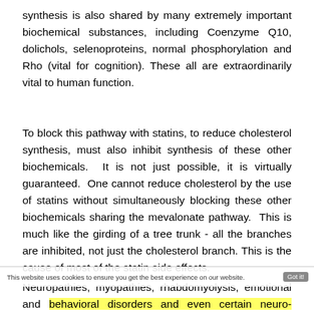synthesis is also shared by many extremely important biochemical substances, including Coenzyme Q10, dolichols, selenoproteins, normal phosphorylation and Rho (vital for cognition). These all are extraordinarily vital to human function.
To block this pathway with statins, to reduce cholesterol synthesis, must also inhibit synthesis of these other biochemicals.  It is not just possible, it is virtually guaranteed.  One cannot reduce cholesterol by the use of statins without simultaneously blocking these other biochemicals sharing the mevalonate pathway.  This is much like the girding of a tree trunk - all the branches are inhibited, not just the cholesterol branch. This is the cause of most of the statin side effects.
Neuropathies, myopathies, rhabdomyolysis, emotional and behavioral disorders and even certain neuro-degenerative conditions, resembling ALS, are side effects based on